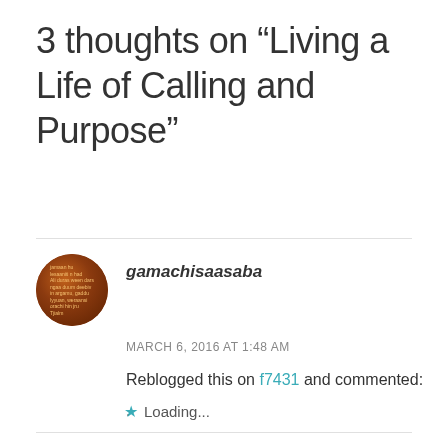3 thoughts on “Living a Life of Calling and Purpose”
gamachisaasaba
MARCH 6, 2016 AT 1:48 AM
Reblogged this on f7431 and commented:
.
Loading...